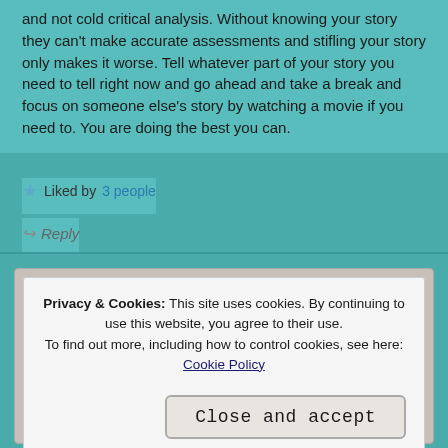and not cold critical analysis. Without knowing your story they can't make accurate assessments and stifling your story only makes it worse. Tell whatever part of your story you need to tell right now and go ahead and take a break and focus on someone else's story by watching a movie if you need to. You are doing the best you can.
Liked by 3 people
Reply
Privacy & Cookies: This site uses cookies. By continuing to use this website, you agree to their use. To find out more, including how to control cookies, see here: Cookie Policy
Close and accept